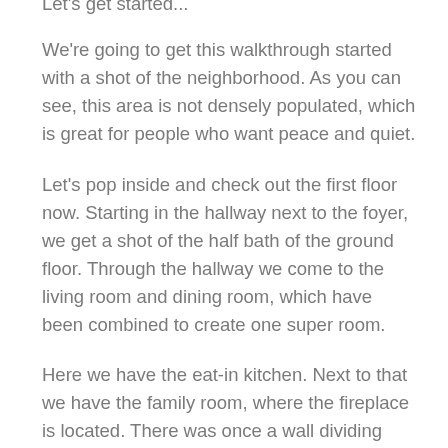Let's get started...
We're going to get this walkthrough started with a shot of the neighborhood. As you can see, this area is not densely populated, which is great for people who want peace and quiet.
Let's pop inside and check out the first floor now. Starting in the hallway next to the foyer, we get a shot of the half bath of the ground floor. Through the hallway we come to the living room and dining room, which have been combined to create one super room.
Here we have the eat-in kitchen. Next to that we have the family room, where the fireplace is located. There was once a wall dividing these two rooms, but it was removed for unknown reasons. Also on the first floor we have the laundry room and utilities closet, located next to the kitchen.